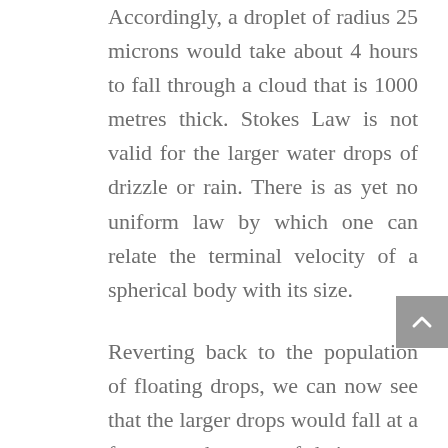Accordingly, a droplet of radius 25 microns would take about 4 hours to fall through a cloud that is 1000 metres thick. Stokes Law is not valid for the larger water drops of drizzle or rain. There is as yet no uniform law by which one can relate the terminal velocity of a spherical body with its size.
Reverting back to the population of floating drops, we can now see that the larger drops would fall at a faster rate because of their greater fall speed. On their downward path, they would encounter several smaller ones that